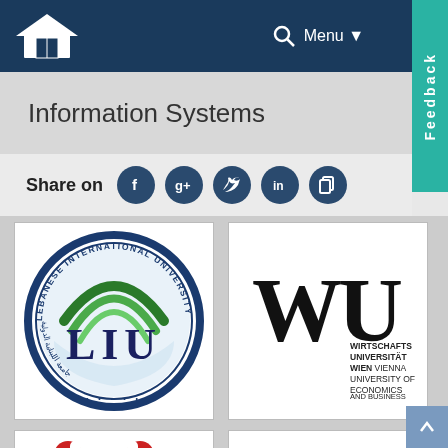Information Systems
Share on
[Figure (logo): Lebanese International University (LIU) circular logo with green arches and navy blue text]
[Figure (logo): WU Wirtschaftsuniversität Wien Vienna University of Economics and Business logo]
[Figure (logo): Partial logo - colored arch/magnet shape logo bottom left]
[Figure (logo): University of Maryland partial circular logo bottom right]